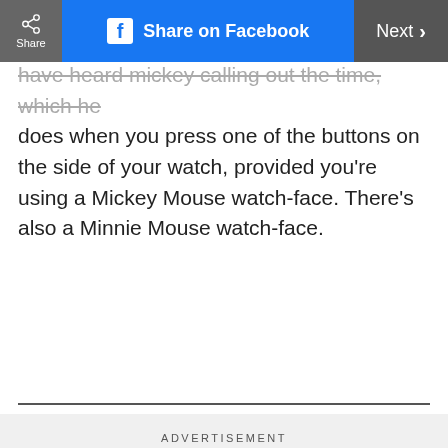Share | Share on Facebook | Next
have heard mickey calling out the time, which he does when you press one of the buttons on the side of your watch, provided you're using a Mickey Mouse watch-face. There's also a Minnie Mouse watch-face.
ADVERTISEMENT
18 / 19
[Figure (photo): Photo showing Google hardware products including a Chromecast, Google Smart Light Starter Kit box with a Nest Mini, and a dark round speaker, arranged on a surface with a teal bag and tan vase in the background.]